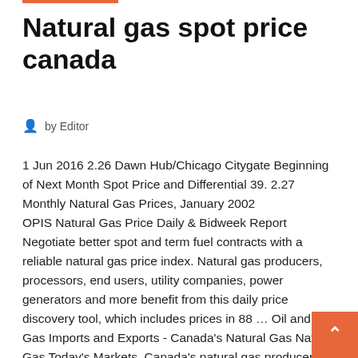Natural gas spot price canada
by Editor
1 Jun 2016 2.26 Dawn Hub/Chicago Citygate Beginning of Next Month Spot Price and Differential 39. 2.27 Monthly Natural Gas Prices, January 2002
OPIS Natural Gas Price Daily & Bidweek Report Negotiate better spot and term fuel contracts with a reliable natural gas price index. Natural gas producers, processors, end users, utility companies, power generators and more benefit from this daily price discovery tool, which includes prices in 88 … Oil and Gas Imports and Exports - Canada's Natural Gas Natural Gas Today's Markets. Canada's natural gas producers supply natural gas to markets in Canada and export natural gas to the U.S. From 2014 to 2018, exports to the U.S. increased sligh overall exports to the U.S. have dropped 16% over the pa...